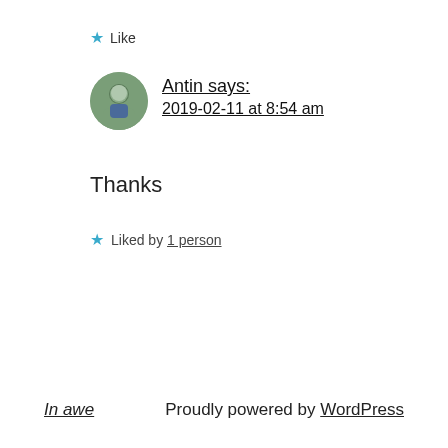★ Like
Antin says:
2019-02-11 at 8:54 am
Thanks
★ Liked by 1 person
In awe    Proudly powered by WordPress